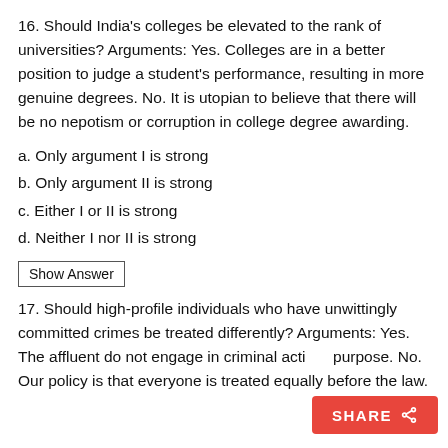16. Should India's colleges be elevated to the rank of universities? Arguments: Yes. Colleges are in a better position to judge a student's performance, resulting in more genuine degrees. No. It is utopian to believe that there will be no nepotism or corruption in college degree awarding.
a. Only argument I is strong
b. Only argument II is strong
c. Either I or II is strong
d. Neither I nor II is strong
Show Answer
17. Should high-profile individuals who have unwittingly committed crimes be treated differently? Arguments: Yes. The affluent do not engage in criminal acti... purpose. No. Our policy is that everyone is treated equally before the law.